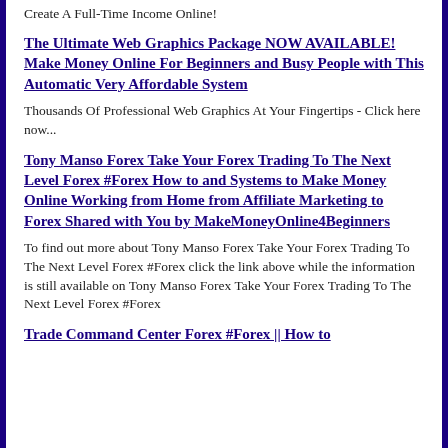Create A Full-Time Income Online!
The Ultimate Web Graphics Package NOW AVAILABLE! Make Money Online For Beginners and Busy People with This Automatic Very Affordable System
Thousands Of Professional Web Graphics At Your Fingertips - Click here now...
Tony Manso Forex Take Your Forex Trading To The Next Level Forex #Forex How to and Systems to Make Money Online Working from Home from Affiliate Marketing to Forex Shared with You by MakeMoneyOnline4Beginners
To find out more about Tony Manso Forex Take Your Forex Trading To The Next Level Forex #Forex click the link above while the information is still available on Tony Manso Forex Take Your Forex Trading To The Next Level Forex #Forex
Trade Command Center Forex #Forex || How to